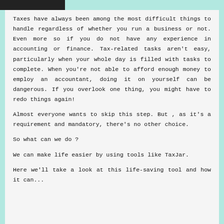Taxes have always been among the most difficult things to handle regardless of whether you run a business or not. Even more so if you do not have any experience in accounting or finance. Tax-related tasks aren't easy, particularly when your whole day is filled with tasks to complete. When you're not able to afford enough money to employ an accountant, doing it on yourself can be dangerous. If you overlook one thing, you might have to redo things again!
Almost everyone wants to skip this step. But , as it's a requirement and mandatory, there's no other choice.
So what can we do ?
We can make life easier by using tools like TaxJar.
Here we'll take a look at this life-saving tool and how it can...